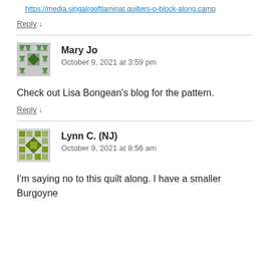https://media.singalrooftlaminat.quilters-o-block-along.camp
Reply ↓
[Figure (illustration): Gravatar avatar for Mary Jo — green geometric quilt pattern icon]
Mary Jo
October 9, 2021 at 3:59 pm
Check out Lisa Bongean's blog for the pattern.
Reply ↓
[Figure (illustration): Gravatar avatar for Lynn C. (NJ) — olive/yellow-green geometric pattern icon]
Lynn C. (NJ)
October 9, 2021 at 8:56 am
I'm saying no to this quilt along. I have a smaller Burgoyne Surrounded block to start and then the old burgoyne started …